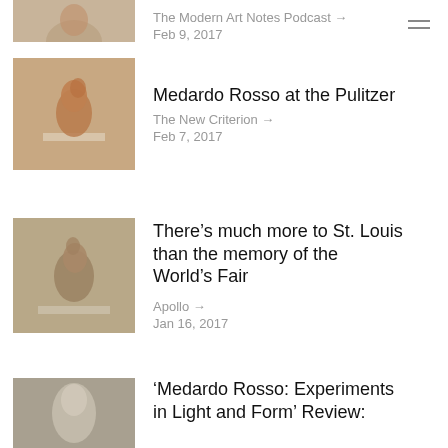[Figure (photo): Partial sculpture bust photo at top, cropped]
The Modern Art Notes Podcast →
Feb 9, 2017
[Figure (photo): Terracotta sculpture bust on white surface]
Medardo Rosso at the Pulitzer
The New Criterion →
Feb 7, 2017
[Figure (photo): Clay sculpture head on white pedestal]
There's much more to St. Louis than the memory of the World's Fair
Apollo →
Jan 16, 2017
[Figure (photo): White marble sculpture bust]
'Medardo Rosso: Experiments in Light and Form' Review: